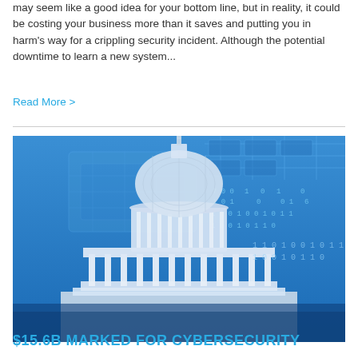may seem like a good idea for your bottom line, but in reality, it could be costing your business more than it saves and putting you in harm's way for a crippling security incident. Although the potential downtime to learn a new system...
Read More >
[Figure (photo): US Capitol building dome against a blue digital/cybersecurity themed background with binary code numbers overlaid]
$15.6B MARKED FOR CYBERSECURITY